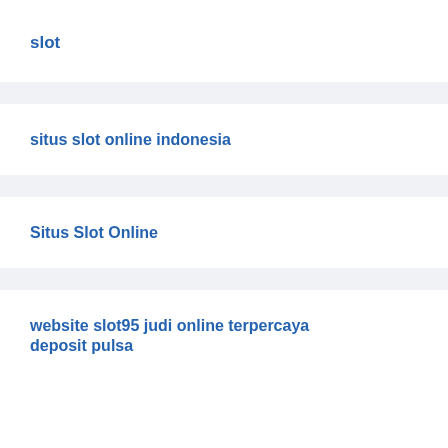slot
situs slot online indonesia
Situs Slot Online
website slot95 judi online terpercaya deposit pulsa